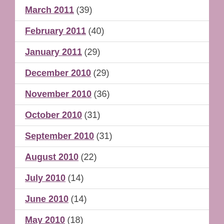March 2011 (39)
February 2011 (40)
January 2011 (29)
December 2010 (29)
November 2010 (36)
October 2010 (31)
September 2010 (31)
August 2010 (22)
July 2010 (14)
June 2010 (14)
May 2010 (18)